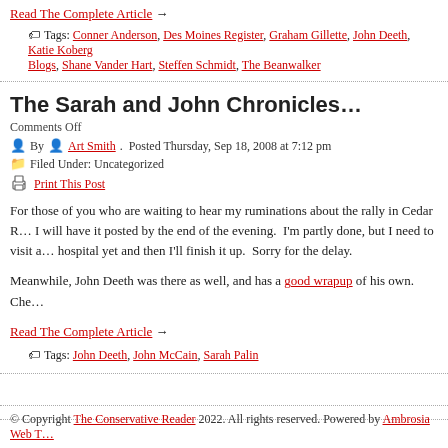Read The Complete Article →
Tags: Conner Anderson, Des Moines Register, Graham Gillette, John Deeth, Katie Koberg Blogs, Shane Vander Hart, Steffen Schmidt, The Beanwalker
The Sarah and John Chronicles…
Comments Off
By Art Smith.  Posted Thursday, Sep 18, 2008 at 7:12 pm
Filed Under: Uncategorized
Print This Post
For those of you who are waiting to hear my ruminations about the rally in Cedar R… I will have it posted by the end of the evening.  I'm partly done, but I need to visit a… hospital yet and then I'll finish it up.  Sorry for the delay.
Meanwhile, John Deeth was there as well, and has a good wrapup of his own.  Che…
Read The Complete Article →
Tags: John Deeth, John McCain, Sarah Palin
© Copyright The Conservative Reader 2022. All rights reserved. Powered by Ambrosia Web T…